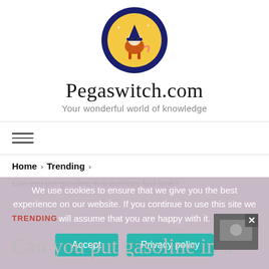[Figure (logo): Pegaswitch.com circular logo with dark navy border, yellow moon background and cartoon unicorn/witch character]
Pegaswitch.com
Your wonderful world of knowledge
[Figure (other): Hamburger menu icon — three horizontal lines]
Home › Trending ›
Can you put gasoline in a auxiliary fuel tank?
We use cookies to ensure that we give you the best experience on our website. If you continue to use this site we will assume that you are happy with it.
Accept
Privacy policy
TRENDING
Can you put gasoline in a